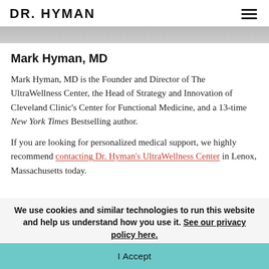DR. HYMAN
[Figure (photo): Partial photo strip of a person, cropped at top of content]
Mark Hyman, MD
Mark Hyman, MD is the Founder and Director of The UltraWellness Center, the Head of Strategy and Innovation of Cleveland Clinic's Center for Functional Medicine, and a 13-time New York Times Bestselling author.
If you are looking for personalized medical support, we highly recommend contacting Dr. Hyman's UltraWellness Center in Lenox, Massachusetts today.
We use cookies and similar technologies to run this website and help us understand how you use it. See our privacy policy here.
I Accept